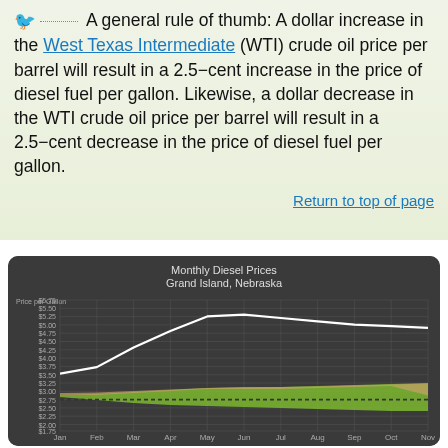A general rule of thumb: A dollar increase in the West Texas Intermediate (WTI) crude oil price per barrel will result in a 2.5-cent increase in the price of diesel fuel per gallon. Likewise, a dollar decrease in the WTI crude oil price per barrel will result in a 2.5-cent decrease in the price of diesel fuel per gallon.
Return to top of page
[Figure (line-chart): Line chart showing monthly diesel prices in Grand Island, Nebraska from Jan to Nov. White line shows current year prices rising from ~$3.50 in Jan to ~$5.25-5.30 peak in May-Jun then declining slightly. Green shaded area band and dotted line around $2.75 reference baseline. The chart has a dark gray background.]